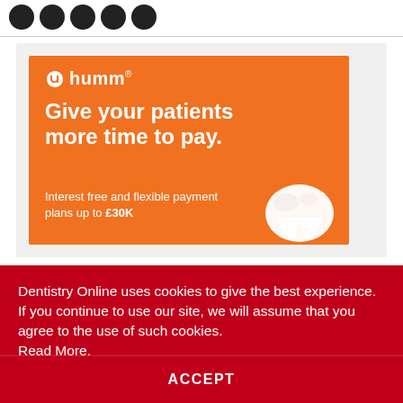[Figure (illustration): Partial view of dark circular social media or navigation icons at the top of the page]
[Figure (infographic): humm advertisement on orange background: 'Give your patients more time to pay. Interest free and flexible payment plans up to £30K' with a white tooth illustration and humm logo]
Dentistry Online uses cookies to give the best experience. If you continue to use our site, we will assume that you agree to the use of such cookies. Read More.
ACCEPT